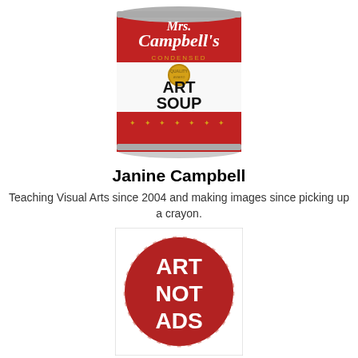[Figure (illustration): A soup can styled like Campbell's soup but labeled 'Mrs. Campbell's Condensed ART SOUP' with a red and white label and gold medallion]
Janine Campbell
Teaching Visual Arts since 2004 and making images since picking up a crayon.
[Figure (illustration): A red circle with white hand-drawn text reading 'ART NOT ADS']
Categories